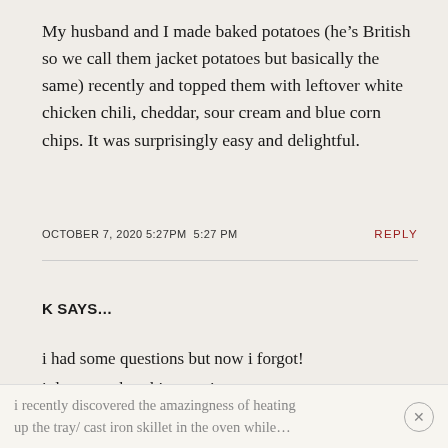My husband and I made baked potatoes (he’s British so we call them jacket potatoes but basically the same) recently and topped them with leftover white chicken chili, cheddar, sour cream and blue corn chips. It was surprisingly easy and delightful.
OCTOBER 7, 2020 5:27PM 5:27 PM    REPLY
K SAYS…
i had some questions but now i forgot!
i do remember this question:
i recently discovered the amazingness of heating up the tray/ cast iron skillet in the oven while…